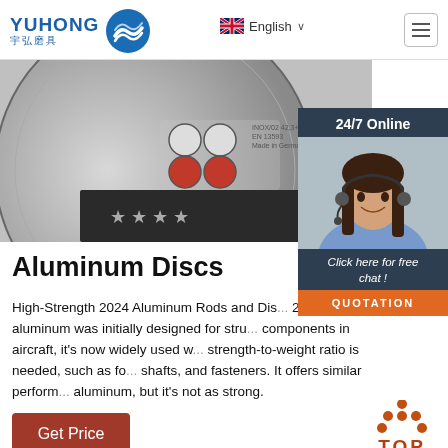[Figure (logo): YUHONG 宇弘磨具 logo with blue wave emblem, navigation bar with English language selector and hamburger menu]
[Figure (photo): Close-up of a gray aluminum/abrasive cutting disc showing safety symbols and star pattern, partially cropped]
[Figure (photo): 24/7 Online chat widget with woman wearing headset, 'Click here for free chat!' text and orange QUOTATION button]
Aluminum Discs
High-Strength 2024 Aluminum Rods and Discs. 2024 aluminum was initially designed for structural components in aircraft, it's now widely used where a high strength-to-weight ratio is needed, such as for gears, shafts, and fasteners. It offers similar performance to 7075 aluminum, but it's not as strong.
[Figure (illustration): Brown 'Get Price' button]
[Figure (illustration): Orange 'TOP' scroll-to-top button with upward arrow dots icon]